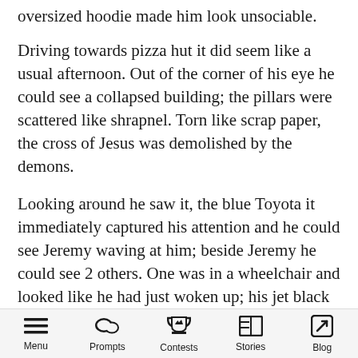oversized hoodie made him look unsociable.
Driving towards pizza hut it did seem like a usual afternoon. Out of the corner of his eye he could see a collapsed building; the pillars were scattered like shrapnel. Torn like scrap paper, the cross of Jesus was demolished by the demons.
Looking around he saw it, the blue Toyota it immediately captured his attention and he could see Jeremy waving at him; beside Jeremy he could see 2 others. One was in a wheelchair and looked like he had just woken up; his jet black hair was all over the place.
Menu  Prompts  Contests  Stories  Blog